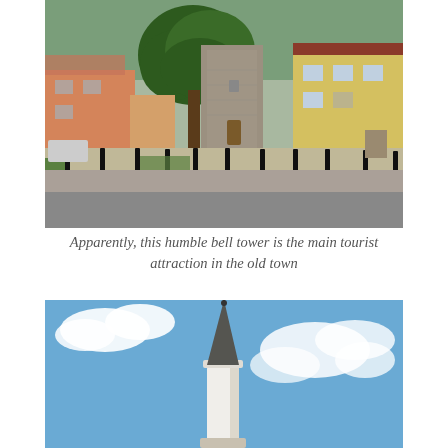[Figure (photo): Outdoor daytime photo of a historic stone bell tower in the center of an old town square. Large trees flank the tower. Bollards line the street in the foreground. Buildings visible on left and right sides.]
Apparently, this humble bell tower is the main tourist attraction in the old town
[Figure (photo): Upward-angled photo of a tall white minaret with a dark conical spire against a bright blue sky with white clouds.]